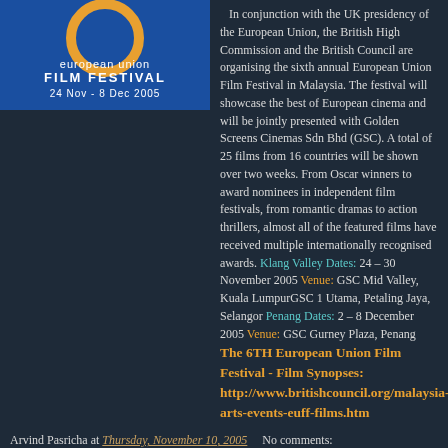[Figure (illustration): European Union Film Festival banner/logo: Blue background with orange circular ring, text 'european union FILM FESTIVAL 24 Nov - 8 Dec 2005']
In conjunction with the UK presidency of the European Union, the British High Commission and the British Council are organising the sixth annual European Union Film Festival in Malaysia. The festival will showcase the best of European cinema and will be jointly presented with Golden Screens Cinemas Sdn Bhd (GSC). A total of 25 films from 16 countries will be shown over two weeks. From Oscar winners to award nominees in independent film festivals, from romantic dramas to action thrillers, almost all of the featured films have received multiple internationally recognised awards. Klang Valley Dates: 24 – 30 November 2005 Venue: GSC Mid Valley, Kuala LumpurGSC 1 Utama, Petaling Jaya, Selangor Penang Dates: 2 – 8 December 2005 Venue: GSC Gurney Plaza, Penang The 6TH European Union Film Festival - Film Synopses: http://www.britishcouncil.org/malaysia-arts-events-euff-films.htm
Arvind Pasricha at Thursday, November 10, 2005   No comments:
Share